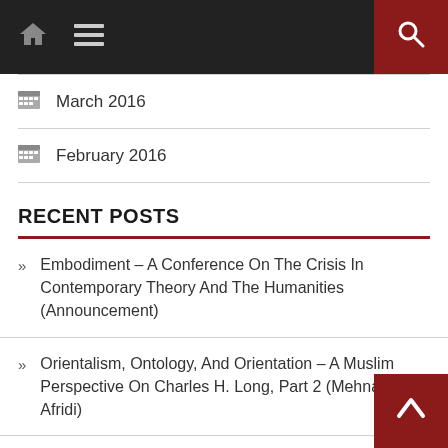Navigation bar with home icon, menu icon, and search button
March 2016
February 2016
RECENT POSTS
Embodiment – A Conference On The Crisis In Contemporary Theory And The Humanities (Announcement)
Orientalism, Ontology, And Orientation – A Muslim Perspective On Charles H. Long, Part 2 (Mehnaz Afridi)
Orientalism, Ontology, And Orientation – A Muslim Perspective On Charles H. Long, Part 1 (Mehnaz Afridi)